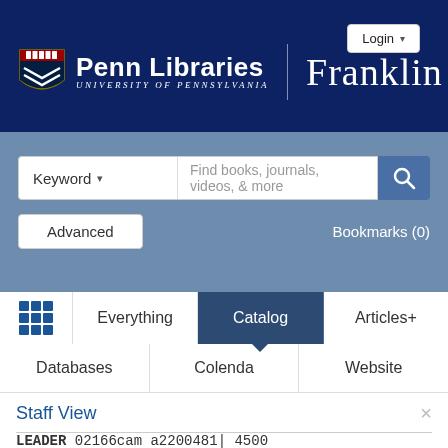[Figure (screenshot): Penn Libraries Franklin catalog website header with navy blue background, Penn shield logo, 'Penn Libraries University of Pennsylvania' text, vertical divider, and 'Franklin' text]
Login
Keyword
Find books, journals, videos, & more
Advanced
Bookmarks (0)
Everything
Catalog
Articles+
Databases
Colenda
Website
Staff View
LEADER 02166cam a2200481| 4500